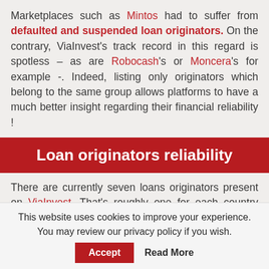Marketplaces such as Mintos had to suffer from defaulted and suspended loan originators. On the contrary, ViaInvest's track record in this regard is spotless – as are Robocash's or Moncera's for example -. Indeed, listing only originators which belong to the same group allows platforms to have a much better insight regarding their financial reliability !
Loan originators reliability
There are currently seven loans originators present on ViaInvest. That's roughly one for each country where loans are offered.
This website uses cookies to improve your experience. You may review our privacy policy if you wish.